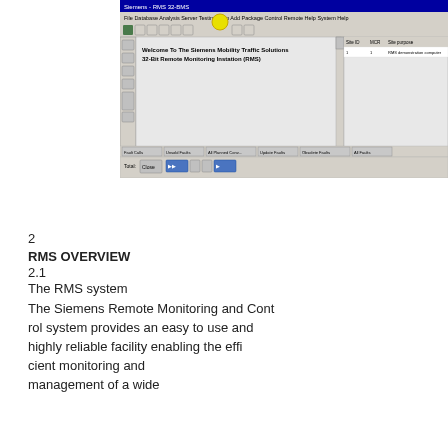[Figure (screenshot): Screenshot of the Siemens Mobility Traffic Solutions 32-Bit Remote Monitoring System (RMS) application window. Shows a browser/application interface with menu bar, toolbar with navigation buttons including a highlighted circular button, a main content area displaying 'Welcome To The Siemens Mobility Traffic Solutions 32-Bit Remote Monitoring System (RMS)' text, a right panel with a list showing 'RMS demonstration computer' entry, a bottom log/event area, and a footer toolbar with navigation controls.]
2
RMS OVERVIEW
2.1
The RMS system
The Siemens Remote Monitoring and Control system provides an easy to use and highly reliable facility enabling the efficient monitoring and management of a wide